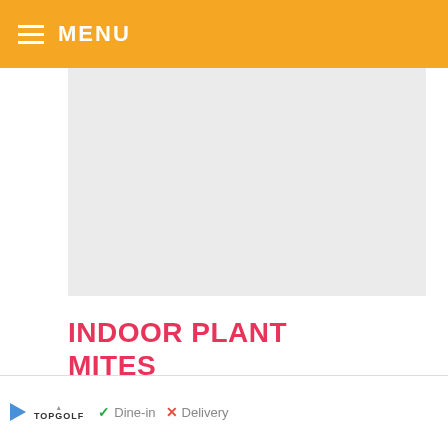MENU
[Figure (other): Advertisement placeholder area (gray box)]
INDOOR PLANT MITES IDENTIFICATION
Spider mites are easy to identify, and finding spider webs on plants is a dead giveaway.
They tend to start their webs on the underside of leaves and at the leaf joints, so that's why they usually go unnoticed for so long.
[Figure (other): Social sharing widget with heart/like button showing 7.3K, and share button]
[Figure (other): Advertisement banner at bottom showing TopGolf ad with Dine-in checkmark, Delivery X mark, and navigation icon]